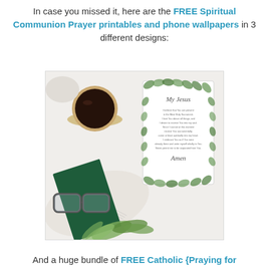In case you missed it, here are the FREE Spiritual Communion Prayer printables and phone wallpapers in 3 different designs:
[Figure (photo): Flat lay photo showing a spiritual communion prayer card with green leaf border design, a cup of black coffee, an open book, glasses, and eucalyptus leaves on a white surface.]
And a huge bundle of FREE Catholic {Praying for